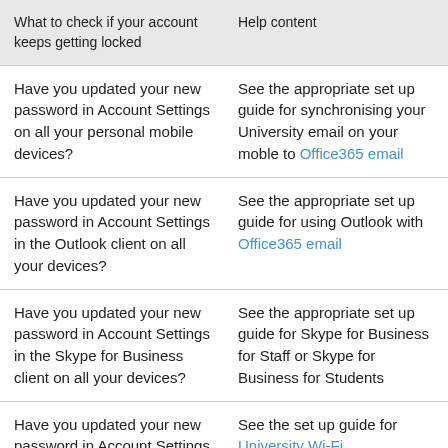| What to check if your account keeps getting locked | Help content |
| --- | --- |
| Have you updated your new password in Account Settings on all your personal mobile devices? | See the appropriate set up guide for synchronising your University email on your moble to Office365 email |
| Have you updated your new password in Account Settings in the Outlook client on all your devices? | See the appropriate set up guide for using Outlook with Office365 email |
| Have you updated your new password in Account Settings in the Skype for Business client on all your devices? | See the appropriate set up guide for Skype for Business for Staff or Skype for Business for Students |
| Have you updated your new password in Account Settings in Wi-Fi for Eduroam or UoE_Secure on all your devices? | See the set up guide for University Wi-Fi |